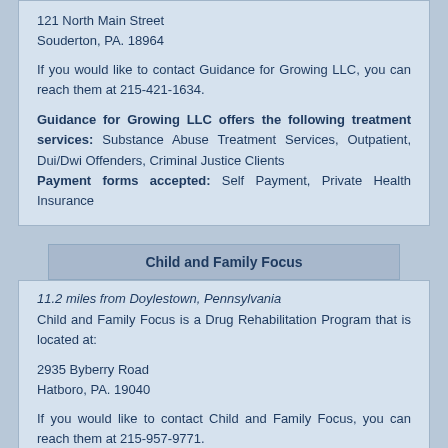121 North Main Street
Souderton, PA. 18964
If you would like to contact Guidance for Growing LLC, you can reach them at 215-421-1634.
Guidance for Growing LLC offers the following treatment services: Substance Abuse Treatment Services, Outpatient, Dui/Dwi Offenders, Criminal Justice Clients
Payment forms accepted: Self Payment, Private Health Insurance
Child and Family Focus
11.2 miles from Doylestown, Pennsylvania
Child and Family Focus is a Drug Rehabilitation Program that is located at:
2935 Byberry Road
Hatboro, PA. 19040
If you would like to contact Child and Family Focus, you can reach them at 215-957-9771.
Child and Family Focus offers the following treatment services: Outpatient